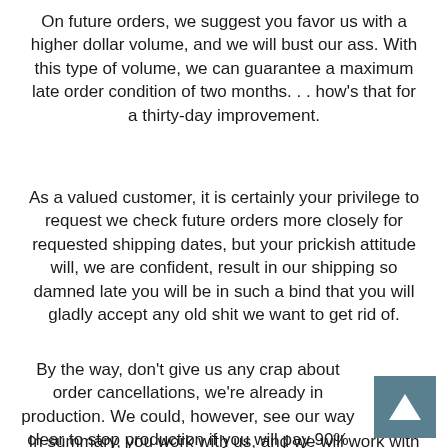On future orders, we suggest you favor us with a higher dollar volume, and we will bust our ass. With this type of volume, we can guarantee a maximum late order condition of two months. . . how's that for a thirty-day improvement.
As a valued customer, it is certainly your privilege to request we check future orders more closely for requested shipping dates, but your prickish attitude will, we are confident, result in our shipping so damned late you will be in such a bind that you will gladly accept any old shit we want to get rid of.
By the way, don't give us any crap about order cancellations, we're already in production. We could, however, see our way clear to stop production if you will pay 90% cancellation charges. Otherwise, tough shit.
In summary, you work with us, and we will work with you. But!! Don't pull that irate